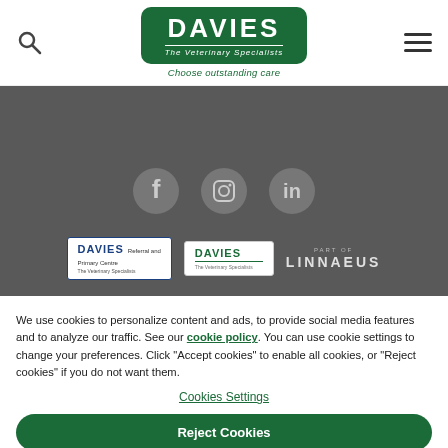[Figure (logo): Davies The Veterinary Specialists logo with tagline 'Choose outstanding care' on white nav bar with search and hamburger menu icons]
[Figure (illustration): Dark grey footer strip with social media icons (Facebook, Instagram, LinkedIn) and three brand logos: Davies Referral and Primary Care, Davies The Veterinary Specialists, and Part of Linnaeus]
We use cookies to personalize content and ads, to provide social media features and to analyze our traffic. See our cookie policy. You can use cookie settings to change your preferences. Click "Accept cookies" to enable all cookies, or "Reject cookies" if you do not want them.
Cookies Settings
Reject Cookies
Accept Cookies